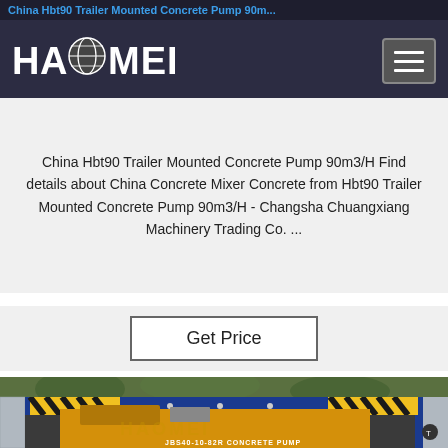China Hbt90 Trailer Mounted Concrete Pump 90m...
[Figure (logo): HAOMEI company logo in white text on dark background]
China Hbt90 Trailer Mounted Concrete Pump 90m3/H Find details about China Concrete Mixer Concrete from Hbt90 Trailer Mounted Concrete Pump 90m3/H - Changsha Chuangxiang Machinery Trading Co. ...
Get Price
[Figure (photo): A yellow concrete pump labeled JBS40-10-82R CONCRETE PUMP being loaded or stored inside a blue shipping container. Trees visible in background. Haomei watermark logo visible on the pump.]